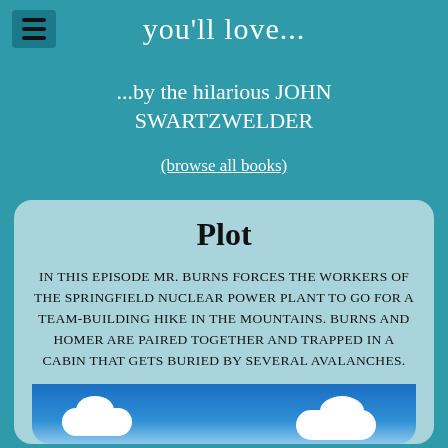you'll love...
...by the hilarious JOHN SWARTZWELDER
(browse all books)
Plot
IN THIS EPISODE MR. BURNS FORCES THE WORKERS OF THE SPRINGFIELD NUCLEAR POWER PLANT TO GO FOR A TEAM-BUILDING HIKE IN THE MOUNTAINS. BURNS AND HOMER ARE PAIRED TOGETHER AND TRAPPED IN A CABIN THAT GETS BURIED BY SEVERAL AVALANCHES.
[Figure (illustration): Blue sky with white clouds illustration at the bottom of the card]